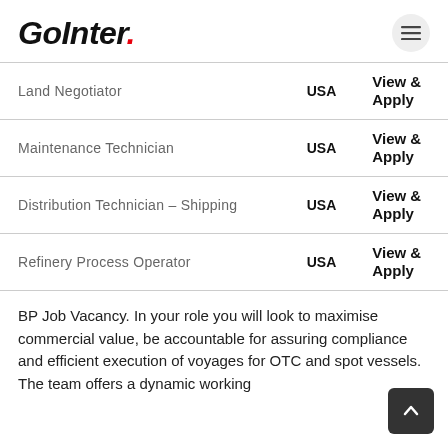GoInter.
| Job Title | Location | Action |
| --- | --- | --- |
| Land Negotiator | USA | View & Apply |
| Maintenance Technician | USA | View & Apply |
| Distribution Technician – Shipping | USA | View & Apply |
| Refinery Process Operator | USA | View & Apply |
BP Job Vacancy. In your role you will look to maximise commercial value, be accountable for assuring compliance and efficient execution of voyages for OTC and spot vessels. The team offers a dynamic working